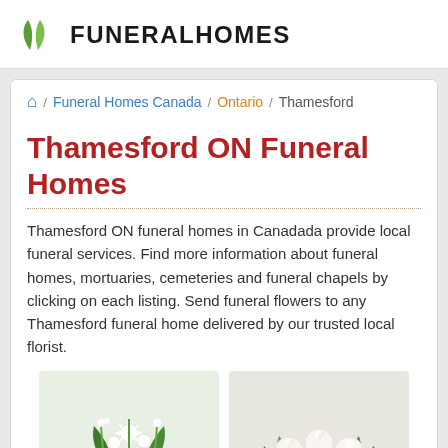FuneralHomes
Home / Funeral Homes Canada / Ontario / Thamesford
Thamesford ON Funeral Homes
Thamesford ON funeral homes in Canadada provide local funeral services. Find more information about funeral homes, mortuaries, cemeteries and funeral chapels by clicking on each listing. Send funeral flowers to any Thamesford funeral home delivered by our trusted local florist.
[Figure (photo): White floral arrangement with white lilies and green foliage]
[Figure (photo): Pink and white floral arrangement with pink lilies and white roses]